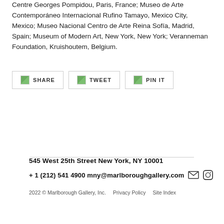Centre Georges Pompidou, Paris, France; Museo de Arte Contemporáneo Internacional Rufino Tamayo, Mexico City, Mexico; Museo Nacional Centro de Arte Reina Sofía, Madrid, Spain; Museum of Modern Art, New York, New York; Veranneman Foundation, Kruishoutem, Belgium.
[Figure (other): Three social share buttons: SHARE, TWEET, PIN IT, each with a small broken image icon placeholder]
545 West 25th Street New York, NY 10001
+ 1 (212) 541 4900  mny@marlboroughgallery.com
2022 © Marlborough Gallery, Inc.  Privacy Policy  Site Index